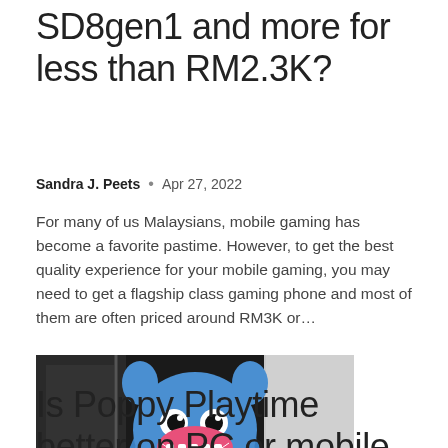SD8gen1 and more for less than RM2.3K?
Sandra J. Peets • Apr 27, 2022
For many of us Malaysians, mobile gaming has become a favorite pastime. However, to get the best quality experience for your mobile gaming, you may need to get a flagship class gaming phone and most of them are often priced around RM3K or...
[Figure (photo): Photo of a blue Huggy Wuggy plush toy character with pink mouth, yellow hands, and black eyes, shown in a dimly lit room]
Is Poppy Playtime better on PC or mobile